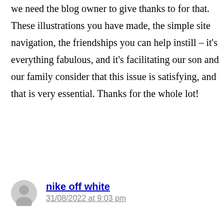we need the blog owner to give thanks to for that. These illustrations you have made, the simple site navigation, the friendships you can help instill – it's everything fabulous, and it's facilitating our son and our family consider that this issue is satisfying, and that is very essential. Thanks for the whole lot!
Reply
nike off white
31/08/2022 at 9:03 pm